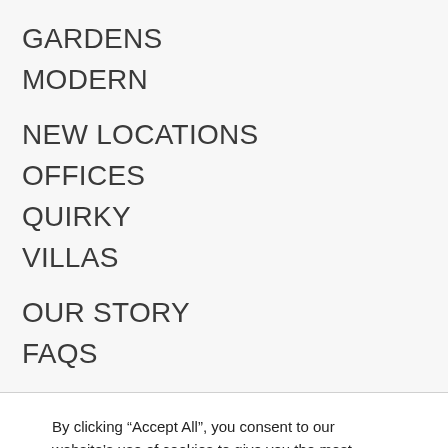GARDENS
MODERN
NEW LOCATIONS
OFFICES
QUIRKY
VILLAS
OUR STORY
FAQS
By clicking “Accept All”, you consent to our website’s use of cookies to give you the most relevant experience by remembering your preferences and repeat visits. However, you may visit “Cookie Settings” to provide controlled consent. Read more
Do not sell my personal information.
Cookie Settings  Accept All  Reject All